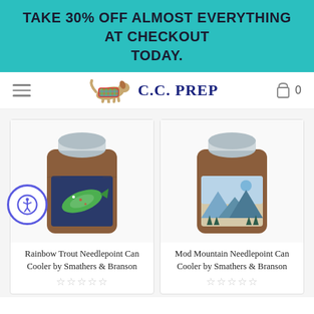TAKE 30% OFF ALMOST EVERYTHING AT CHECKOUT TODAY.
[Figure (logo): C.C. PREP logo with colorful running dog and dark blue serif text]
[Figure (photo): Rainbow Trout Needlepoint Can Cooler product photo — brown leather can cooler with needlepoint trout design, holding a silver beverage can]
Rainbow Trout Needlepoint Can Cooler by Smathers & Branson
☆☆☆☆☆
[Figure (photo): Mod Mountain Needlepoint Can Cooler product photo — brown leather can cooler with needlepoint mountain scene, holding a silver beverage can]
Mod Mountain Needlepoint Can Cooler by Smathers & Branson
☆☆☆☆☆